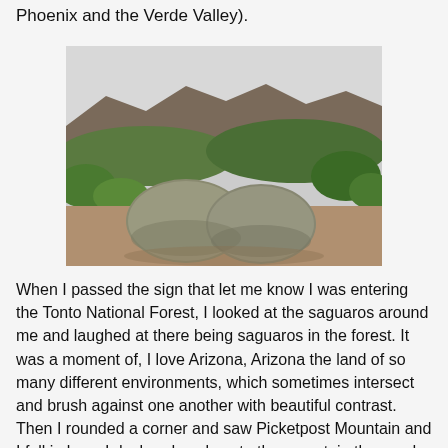Phoenix and the Verde Valley).
[Figure (photo): Outdoor desert landscape photograph showing large rounded boulders in the foreground, green shrubs and trees in the middle ground, and rocky mountain ridgeline in the background under an overcast sky. Typical Arizona high desert or Sonoran Desert transition zone scenery.]
When I passed the sign that let me know I was entering the Tonto National Forest, I looked at the saguaros around me and laughed at there being saguaros in the forest. It was a moment of, I love Arizona, Arizona the land of so many different environments, which sometimes intersect and brush against one another with beautiful contrast. Then I rounded a corner and saw Picketpost Mountain and I fell in love. I declared my love to the mountain then and there. (I now know to seeing that the Picketpost trail is rated as difficult...